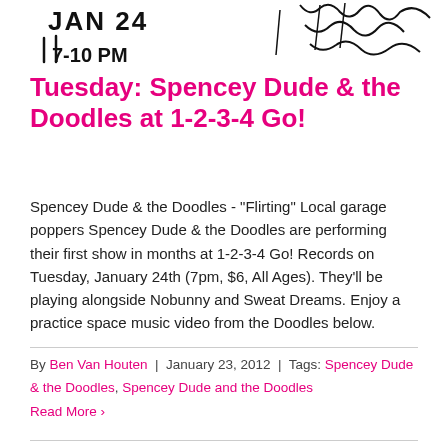[Figure (illustration): Hand-drawn sketch showing event flyer art with text 'JAN 24' and '7-10 PM' visible, along with doodle-style illustrations]
Tuesday: Spencey Dude & the Doodles at 1-2-3-4 Go!
Spencey Dude & the Doodles - "Flirting" Local garage poppers Spencey Dude & the Doodles are performing their first show in months at 1-2-3-4 Go! Records on Tuesday, January 24th (7pm, $6, All Ages). They'll be playing alongside Nobunny and Sweat Dreams. Enjoy a practice space music video from the Doodles below.
By Ben Van Houten | January 23, 2012 | Tags: Spencey Dude & the Doodles, Spencey Dude and the Doodles
Read More ›